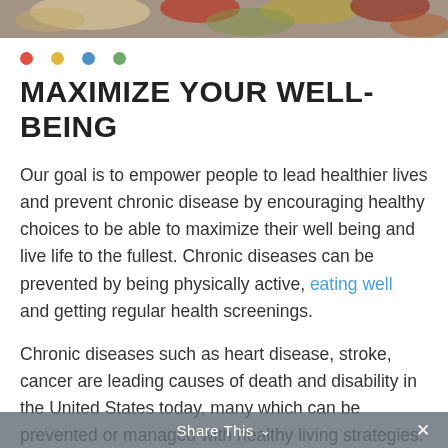[Figure (photo): Cropped top strip of a photo showing colorful fruits and vegetables from above]
MAXIMIZE YOUR WELL-BEING
Our goal is to empower people to lead healthier lives and prevent chronic disease by encouraging healthy choices to be able to maximize their well being and live life to the fullest. Chronic diseases can be prevented by being physically active, eating well and getting regular health screenings.
Chronic diseases such as heart disease, stroke, cancer are leading causes of death and disability in the United States today, many which can be prevented or managed with healthy living strategies.
Share This ∨ ×